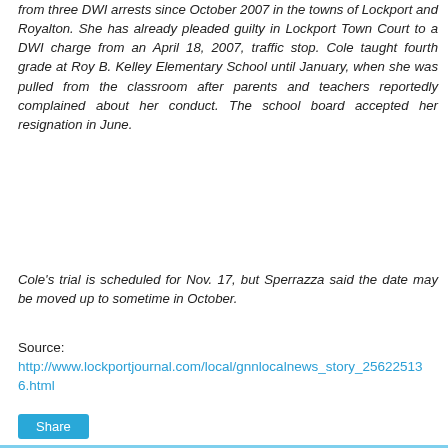from three DWI arrests since October 2007 in the towns of Lockport and Royalton. She has already pleaded guilty in Lockport Town Court to a DWI charge from an April 18, 2007, traffic stop. Cole taught fourth grade at Roy B. Kelley Elementary School until January, when she was pulled from the classroom after parents and teachers reportedly complained about her conduct. The school board accepted her resignation in June.
Cole’s trial is scheduled for Nov. 17, but Sperrazza said the date may be moved up to sometime in October.
Source:
http://www.lockportjournal.com/local/gnnlocalnews_story_256225136.html